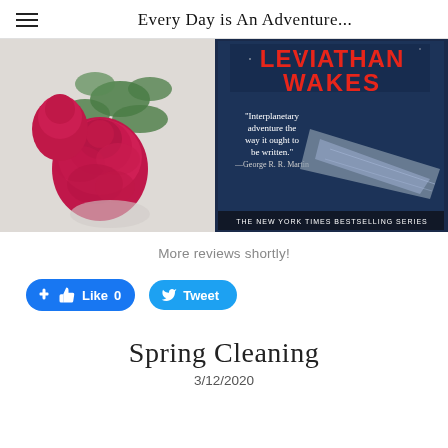Every Day is An Adventure...
[Figure (photo): Photo of a book 'Leviathan Wakes' from The Expanse series (The New York Times Bestselling Series) beside pink roses in a vase on a white surface. The book cover shows a spaceship and includes a quote: 'Interplanetary adventure the way it ought to be written.' —George R. R. Martin]
More reviews shortly!
[Figure (screenshot): Facebook Like button showing 0 likes and a Twitter Tweet button]
Spring Cleaning
3/12/2020